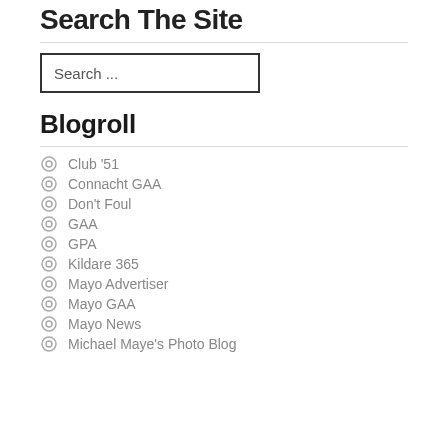Search The Site
[Figure (other): Search input box with placeholder text 'Search ...']
Blogroll
Club '51
Connacht GAA
Don't Foul
GAA
GPA
Kildare 365
Mayo Advertiser
Mayo GAA
Mayo News
Michael Maye's Photo Blog